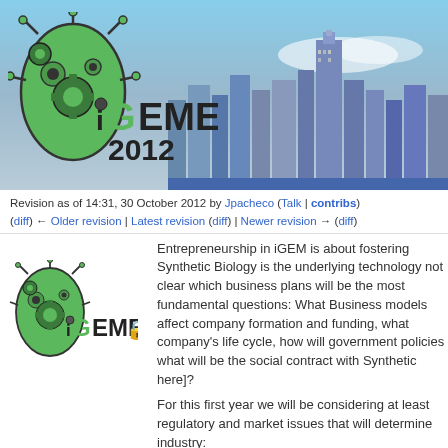[Figure (logo): iGEM 2012 banner with logo and Hong Kong skyline cityscape background]
Revision as of 14:31, 30 October 2012 by Jpacheco (Talk | contribs)
(diff) ← Older revision | Latest revision (diff) | Newer revision → (diff)
[Figure (logo): iGEM 2012 small logo with lock icon]
Entrepreneurship in iGEM is about fostering Synthetic Biology is the underlying technology not clear which business plans will be the most fundamental questions: What Business models affect company formation and funding, what company's life cycle, how will government policies what will be the social contract with Synthetic here]?
For this first year we will be considering at least regulatory and market issues that will determine industry:
* Business Plans
* Economic and Business Models
* Industry Development
* Business and Regulation